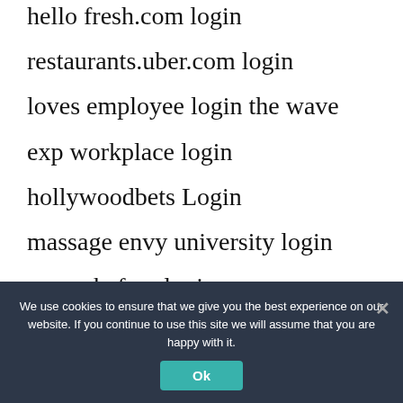hello fresh.com login
restaurants.uber.com login
loves employee login the wave
exp workplace login
hollywoodbets Login
massage envy university login
ess wakefern login
commerce7 login
maiier.lerance login
We use cookies to ensure that we give you the best experience on our website. If you continue to use this site we will assume that you are happy with it. Ok